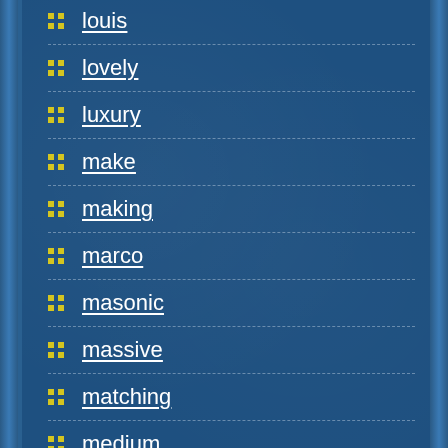louis
lovely
luxury
make
making
marco
masonic
massive
matching
medium
mid-20th